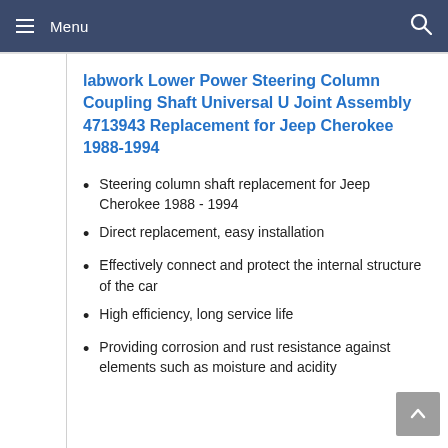Menu
labwork Lower Power Steering Column Coupling Shaft Universal U Joint Assembly 4713943 Replacement for Jeep Cherokee 1988-1994
Steering column shaft replacement for Jeep Cherokee 1988 - 1994
Direct replacement, easy installation
Effectively connect and protect the internal structure of the car
High efficiency, long service life
Providing corrosion and rust resistance against elements such as moisture and acidity